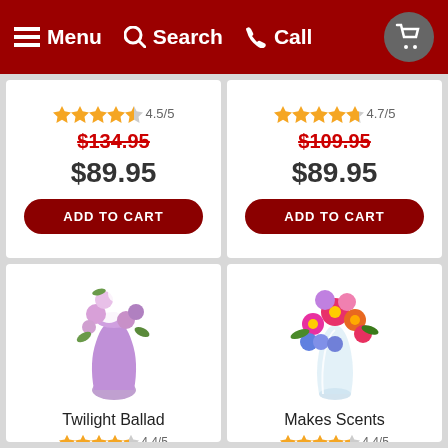Menu  Search  Call
4.5/5
$134.95
$89.95
ADD TO CART
4.7/5
$109.95
$89.95
ADD TO CART
[Figure (photo): Flower bouquet in purple vase - Twilight Ballad]
Twilight Ballad
4.4/5
$119.95
$89.95
[Figure (photo): Colorful flower bouquet in glass vase - Makes Scents]
Makes Scents
4.4/5
$119.95
$89.95